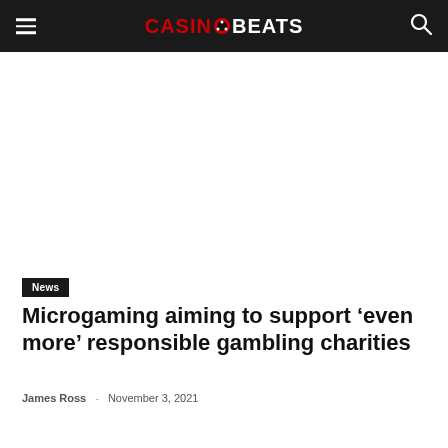CASINOBEATS
News
Microgaming aiming to support ‘even more’ responsible gambling charities
James Ross - November 3, 2021